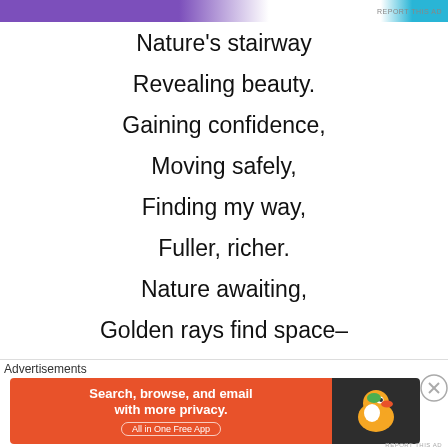[Figure (other): Top advertisement banner with purple and teal gradient colors]
Nature's stairway
Revealing beauty.
Gaining confidence,
Moving safely,
Finding my way,
Fuller, richer.
Nature awaiting,
Golden rays find space–
Advertisements
[Figure (other): DuckDuckGo advertisement banner: Search, browse, and email with more privacy. All in One Free App. Orange background with DuckDuckGo logo on dark right panel.]